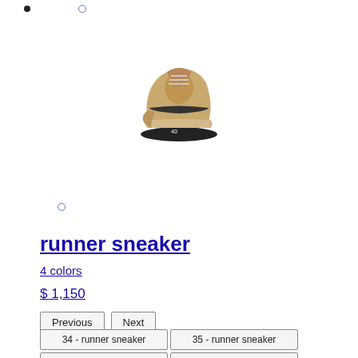[Figure (photo): Front-facing view of a tan/beige runner sneaker with dark sole]
runner sneaker
4 colors
$ 1,150
Previous
Next
34 - runner sneaker
35 - runner sneaker
36 - runner sneaker
37 - runner sneaker